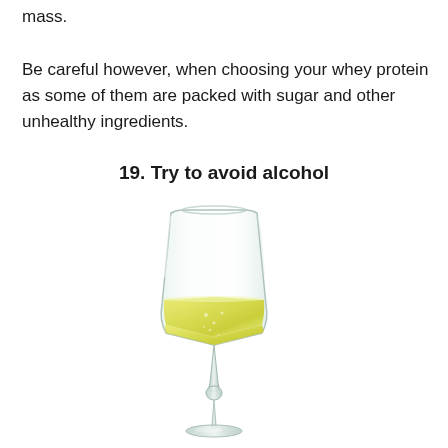mass.

Be careful however, when choosing your whey protein as some of them are packed with sugar and other unhealthy ingredients.
19. Try to avoid alcohol
[Figure (illustration): A champagne flute glass half-filled with a pale yellow sparkling liquid (champagne/wine), with bubbles visible inside, set against a white background.]